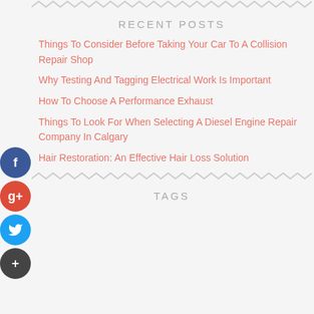RECENT POSTS
Things To Consider Before Taking Your Car To A Collision Repair Shop
Why Testing And Tagging Electrical Work Is Important
How To Choose A Performance Exhaust
Things To Look For When Selecting A Diesel Engine Repair Company In Calgary
Hair Restoration: An Effective Hair Loss Solution
TAGS